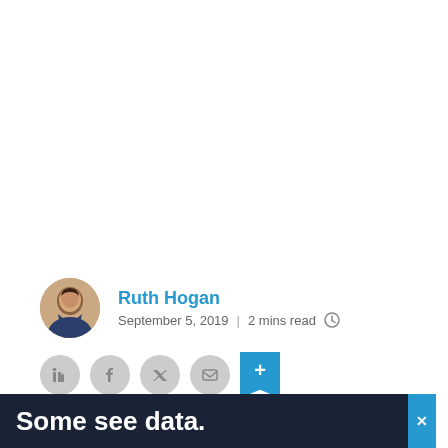[Figure (photo): White empty space at top of article page]
Ruth Hogan
September 5, 2019  |  2 mins read
[Figure (infographic): Social sharing icons: LinkedIn, Facebook, Twitter, Email, and a blue bookmark/save button with plus sign]
Kaufland Australia has commenced construction of its first South Australia store in Prosp... val for its...
[Figure (infographic): Dark navy advertisement banner overlay reading 'Some see data.' with a blue X close button on the right]